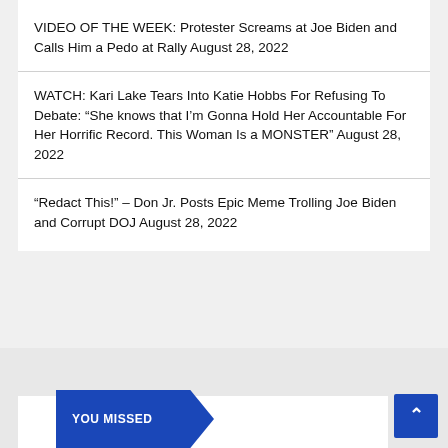VIDEO OF THE WEEK: Protester Screams at Joe Biden and Calls Him a Pedo at Rally August 28, 2022
WATCH: Kari Lake Tears Into Katie Hobbs For Refusing To Debate: “She knows that I’m Gonna Hold Her Accountable For Her Horrific Record. This Woman Is a MONSTER” August 28, 2022
“Redact This!” – Don Jr. Posts Epic Meme Trolling Joe Biden and Corrupt DOJ August 28, 2022
YOU MISSED